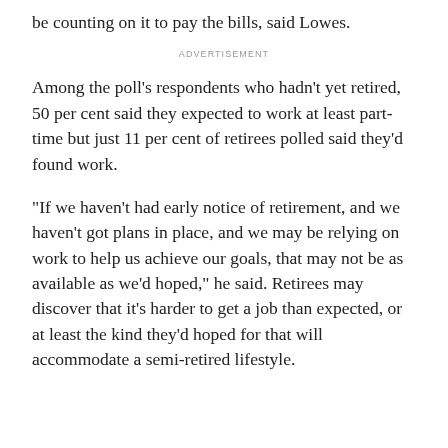be counting on it to pay the bills, said Lowes.
ADVERTISEMENT
Among the poll's respondents who hadn't yet retired, 50 per cent said they expected to work at least part-time but just 11 per cent of retirees polled said they'd found work.
"If we haven't had early notice of retirement, and we haven't got plans in place, and we may be relying on work to help us achieve our goals, that may not be as available as we'd hoped," he said. Retirees may discover that it's harder to get a job than expected, or at least the kind they'd hoped for that will accommodate a semi-retired lifestyle.